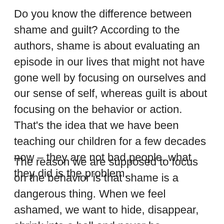Do you know the difference between shame and guilt? According to the authors, shame is about evaluating an episode in our lives that might not have gone well by focusing on ourselves and our sense of self, whereas guilt is about focusing on the behavior or action. That's the idea that we have been teaching our children for a few decades now – they are not bad people, what they did is the problem.
The reason we are supposed to focus on the behavior is that shame is a dangerous thing. When we feel ashamed, we want to hide, disappear, shrink into a ball and never be heard from again. Shame leads to…